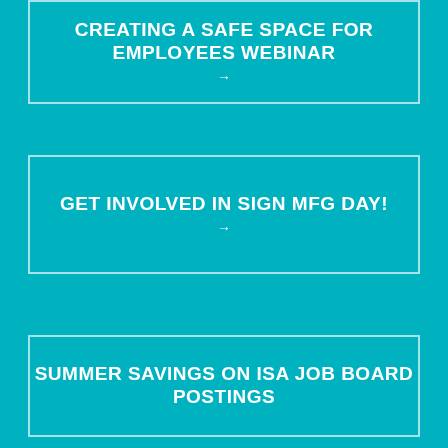CREATING A SAFE SPACE FOR EMPLOYEES WEBINAR →
GET INVOLVED IN SIGN MFG DAY! →
SUMMER SAVINGS ON ISA JOB BOARD POSTINGS
This website stores cookies on your computer. These cookies are used to improve your website experience and provide more personalized services to you, both on this website and through other media. To find out more about the cookies we use, see our Privacy Policy.
We won't track your information when you visit our site. But in order to comply with your preferences, we'll have to use just one tiny cookie so that you're not asked to make this choice again.
Accept
Decline